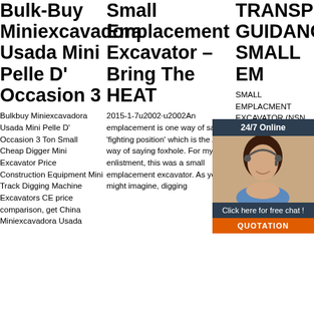Bulk-Buy Miniexcavadora Usada Mini Pelle D' Occasion 3
Bulkbuy Miniexcavadora Usada Mini Pelle D' Occasion 3 Ton Small Cheap Digger Mini Excavator Price Construction Equipment Mini Track Digging Machine Excavators CE price comparison, get China Miniexcavadora Usada
Small Emplacement Excavator – Bring The HEAT
2015-1-7u2002·u2002An emplacement is one way of saying 'fighting position' which is the Army way of saying foxhole. For my first enlistment, this was a small emplacement excavator. As you might imagine, digging
TRANSPORT GUIDANCE SMALL EM
SMALL EMPLACMENT EXCAVATOR (NSN 2420-01-228-275-) MOBILITY ENTRENCHER (NSN 2420-01-228-8610) HIGH MOBILITY MATERIAL HANDLER (HMMH) (NSN 2420-01-205-8636) Approved for
[Figure (photo): Customer service representative with headset, smiling, with chat widget overlay showing '24/7 Online', 'Click here for free chat!', and 'QUOTATION' button]